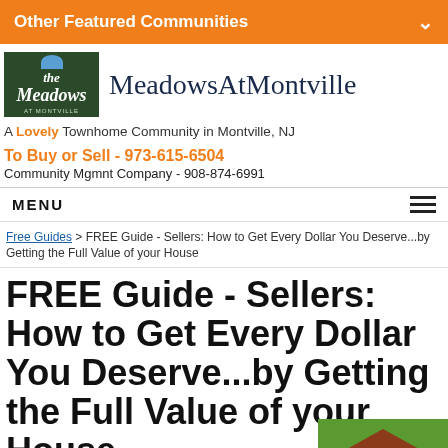Other Featured Communities
[Figure (logo): The Meadows at Montville logo - green background with stylized text]
MeadowsAtMontville
A Lovely Townhome Community in Montville, NJ
To Buy or Sell - 973-615-6504
Community Mgmnt Company - 908-874-6991
MENU
Free Guides > FREE Guide - Sellers: How to Get Every Dollar You Deserve...by Getting the Full Value of your House
FREE Guide - Sellers: How to Get Every Dollar You Deserve...by Getting the Full Value of your House
[Figure (photo): Partial photo of a house roof with green background, visible at bottom right]